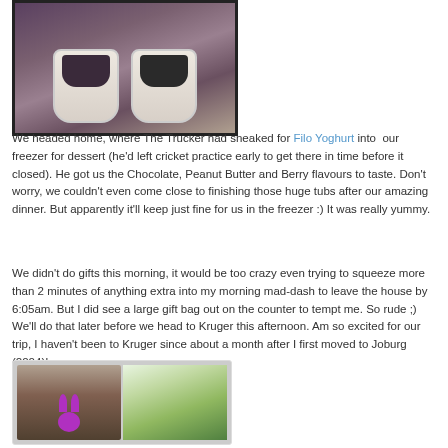[Figure (photo): Two ceramic cups/bowls with dark contents on a wooden surface]
We headed home, where The Trucker had sneaked for Filo Yoghurt into our freezer for dessert (he'd left cricket practice early to get there in time before it closed). He got us the Chocolate, Peanut Butter and Berry flavours to taste. Don't worry, we couldn't even come close to finishing those huge tubs after our amazing dinner. But apparently it'll keep just fine for us in the freezer :) It was really yummy.
We didn't do gifts this morning, it would be too crazy even trying to squeeze more than 2 minutes of anything extra into my morning mad-dash to leave the house by 6:05am. But I did see a large gift bag out on the counter to tempt me. So rude ;) We'll do that later before we head to Kruger this afternoon. Am so excited for our trip, I haven't been to Kruger since about a month after I first moved to Joburg (2004)!
[Figure (photo): Two photos side by side: left shows a pink glittery bunny figurine, right shows white calla lilies with green leaves]